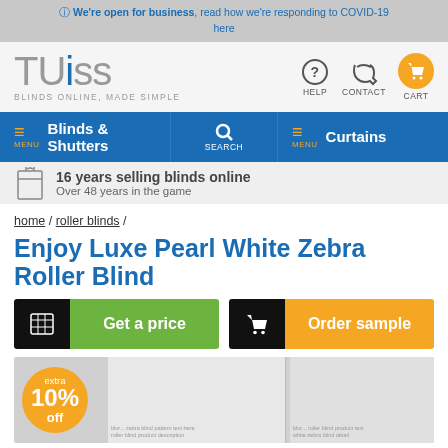We're open for business, read how we're responding to COVID-19 here
[Figure (logo): Tuiss logo — BLINDS ONLINE, MADE SIMPLE]
[Figure (infographic): Navigation bar with Blinds & Shutters menu, Search, and Curtains menu]
16 years selling blinds online
Over 48 years in the game
home / roller blinds /
Enjoy Luxe Pearl White Zebra Roller Blind
Get a price
Order sample
[Figure (photo): Product image area showing roller blinds with an orange badge reading extra 10% off]